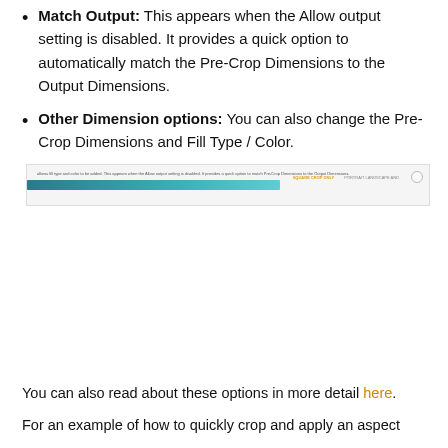Match Output: This appears when the Allow output setting is disabled. It provides a quick option to automatically match the Pre-Crop Dimensions to the Output Dimensions.
Other Dimension options: You can also change the Pre-Crop Dimensions and Fill Type / Color.
[Figure (screenshot): A screenshot showing a horizontal toolbar or panel with a teal/blue progress bar element on the left, and two labeled controls on the right (one in gold/yellow color, one in grey), plus a circular icon button on the far right.]
You can also read about these options in more detail here.
For an example of how to quickly crop and apply an aspect